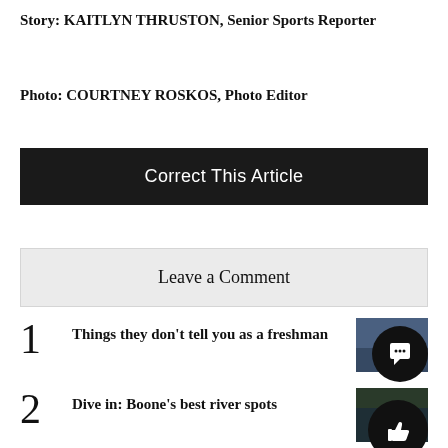Story: KAITLYN THRUSTON, Senior Sports Reporter
Photo: COURTNEY ROSKOS, Photo Editor
Correct This Article
Leave a Comment
1 Things they don't tell you as a freshman
2 Dive in: Boone's best river spots